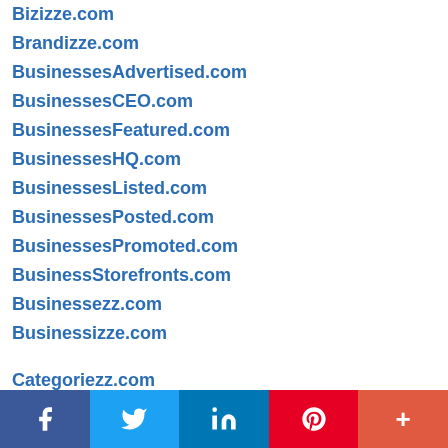Bizizze.com
Brandizze.com
BusinessesAdvertised.com
BusinessesCEO.com
BusinessesFeatured.com
BusinessesHQ.com
BusinessesListed.com
BusinessesPosted.com
BusinessesPromoted.com
BusinessStorefronts.com
Businessezz.com
Businessizze.com
Categoriezz.com
Citiezz.com
CityAdvertised.com
CityCategories.com